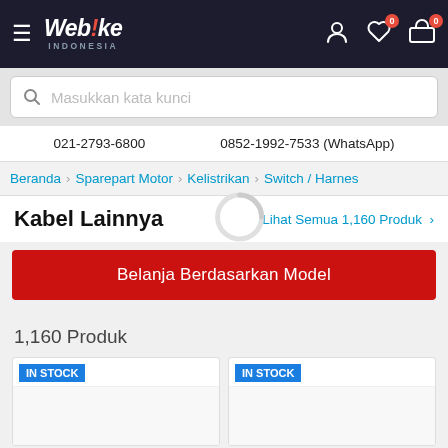Webike Indonesia — hamburger menu, user icon, wishlist (0), cart (0)
Masukkan kata kunci
021-2793-6800    0852-1992-7533 (WhatsApp)
Beranda > Sparepart Motor > Kelistrikan > Switch / Harnes
Kabel Lainnya
Lihat Semua 1,160 Produk >
Belanja Berdasarkan Model
1,160 Produk
IN STOCK
IN STOCK